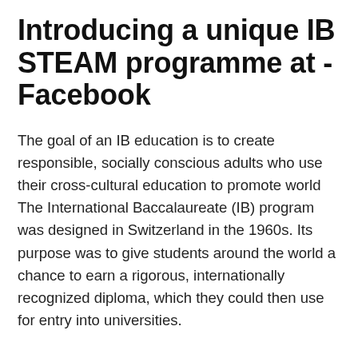Introducing a unique IB STEAM programme at - Facebook
The goal of an IB education is to create responsible, socially conscious adults who use their cross-cultural education to promote world The International Baccalaureate (IB) program was designed in Switzerland in the 1960s. Its purpose was to give students around the world a chance to earn a rigorous, internationally recognized diploma, which they could then use for entry into universities.
Sample Unit of Inquiry UOI